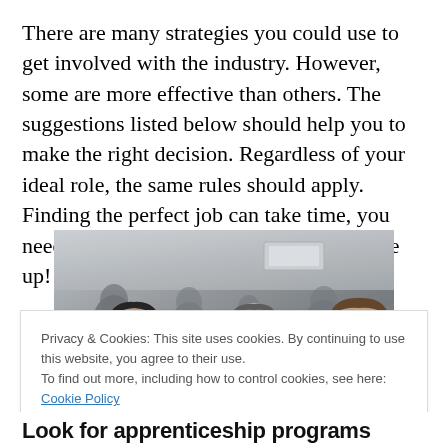There are many strategies you could use to get involved with the industry. However, some are more effective than others. The suggestions listed below should help you to make the right decision. Regardless of your ideal role, the same rules should apply. Finding the perfect job can take time, you need to focus on your goals and never give up!
[Figure (photo): A group of people networking at an indoor event, smiling and talking to each other. Several people are visible including a woman with glasses in the foreground.]
Privacy & Cookies: This site uses cookies. By continuing to use this website, you agree to their use.
To find out more, including how to control cookies, see here: Cookie Policy
Look for apprenticeship programs